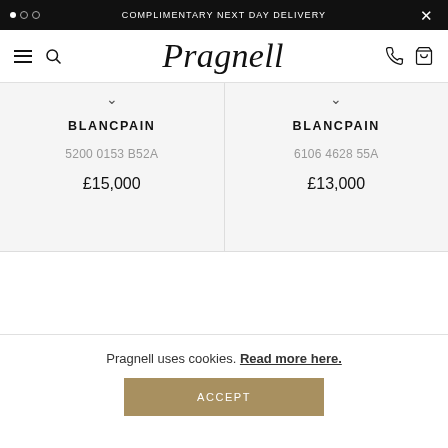COMPLIMENTARY NEXT DAY DELIVERY
[Figure (logo): Pragnell cursive logo with hamburger menu, search icon, phone icon, and bag icon]
BLANCPAIN
5200 0153 B52A
£15,000
BLANCPAIN
6106 4628 55A
£13,000
Pragnell uses cookies. Read more here.
ACCEPT